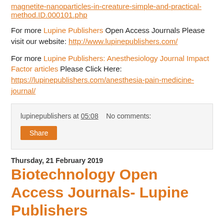magnetite-nanoparticles-in-creature-simple-and-practical-method.ID.000101.php
For more Lupine Publishers Open Access Journals Please visit our website: http://www.lupinepublishers.com/
For more Lupine Publishers: Anesthesiology Journal Impact Factor articles Please Click Here: https://lupinepublishers.com/anesthesia-pain-medicine-journal/
lupinepublishers at 05:08   No comments:
Share
Thursday, 21 February 2019
Biotechnology Open Access Journals- Lupine Publishers
[Figure (other): Antibiotic resistance banner image with hexagonal badge]